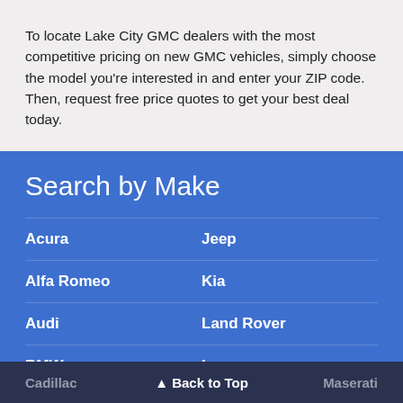To locate Lake City GMC dealers with the most competitive pricing on new GMC vehicles, simply choose the model you're interested in and enter your ZIP code. Then, request free price quotes to get your best deal today.
Search by Make
Acura
Jeep
Alfa Romeo
Kia
Audi
Land Rover
BMW
Lexus
Buick
Lincoln
Cadillac
Maserati
▲ Back to Top